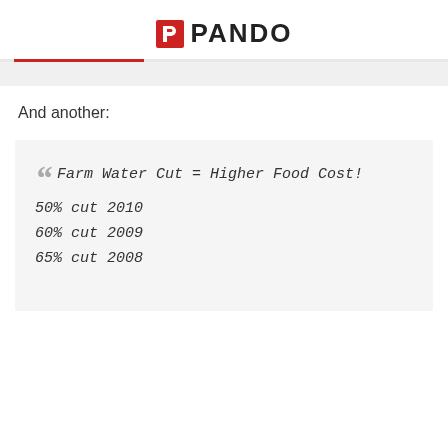PANDO
And another:
Farm Water Cut = Higher Food Cost!
50% cut 2010
60% cut 2009
65% cut 2008